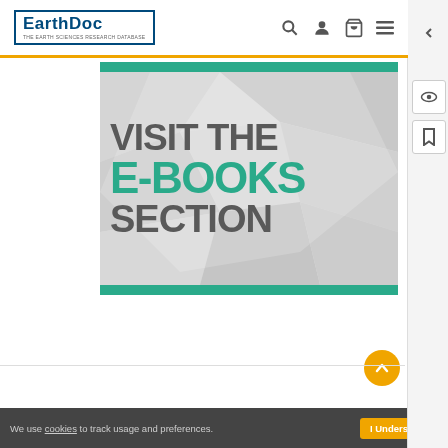EarthDoc
[Figure (illustration): Promotional banner with geometric light-gray background and text: VISIT THE E-BOOKS SECTION, with teal top and bottom bars]
We use cookies to track usage and preferences. I Understand